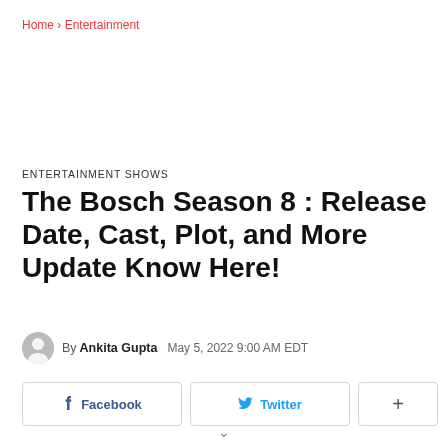Home › Entertainment
ENTERTAINMENT SHOWS
The Bosch Season 8 : Release Date, Cast, Plot, and More Update Know Here!
By Ankita Gupta   May 5, 2022 9:00 AM EDT
Facebook   Twitter   +